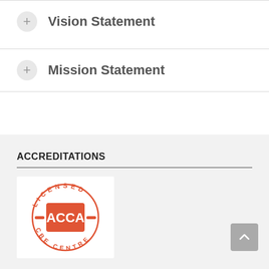Vision Statement
Mission Statement
ACCREDITATIONS
[Figure (logo): ACCA Licensed CBE Centre circular logo in red/orange with ACCA text in white on a red square in the center, surrounded by text reading LICENSED CBE CENTRE in a circle]